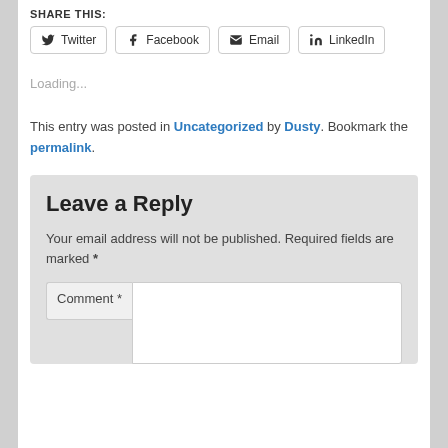SHARE THIS:
Twitter  Facebook  Email  LinkedIn
Loading...
This entry was posted in Uncategorized by Dusty. Bookmark the permalink.
Leave a Reply
Your email address will not be published. Required fields are marked *
Comment *